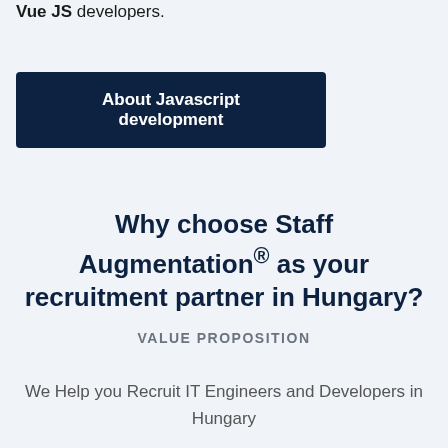Vue JS developers.
About Javascript development
Why choose Staff Augmentation® as your recruitment partner in Hungary?
VALUE PROPOSITION
We Help you Recruit IT Engineers and Developers in Hungary